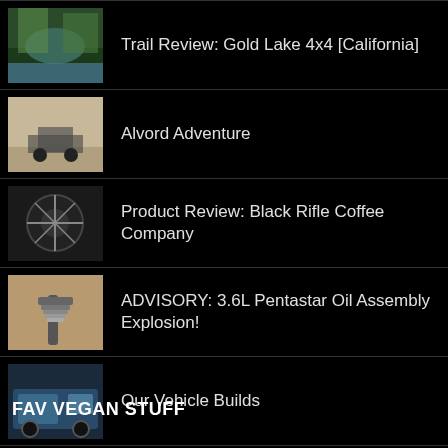Trail Review: Gold Lake 4x4 [California]
Alvord Adventure
Product Review: Black Rifle Coffee Company
ADVISORY: 3.6L Pentastar Oil Assembly Explosion!
Our Vehicle Builds
Trail Report: Hell's Revenge [Utah]
FAV VEGAN STUFF